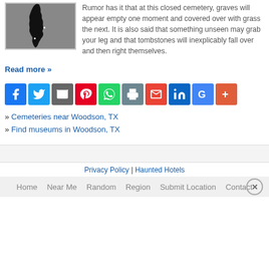[Figure (map): Grayscale map outline with black irregular drip-like shape on gray background]
Rumor has it that at this closed cemetery, graves will appear empty one moment and covered over with grass the next. It is also said that something unseen may grab your leg and that tombstones will inexplicably fall over and then right themselves.
Read more »
[Figure (infographic): Social share buttons: Facebook, Twitter, Email, Pinterest, WhatsApp, Print, Gmail, LinkedIn, Google, More]
» Cemeteries near Woodson, TX
» Find museums in Woodson, TX
Privacy Policy | Haunted Hotels
Home  Near Me  Random  Region  Submit Location  Contact